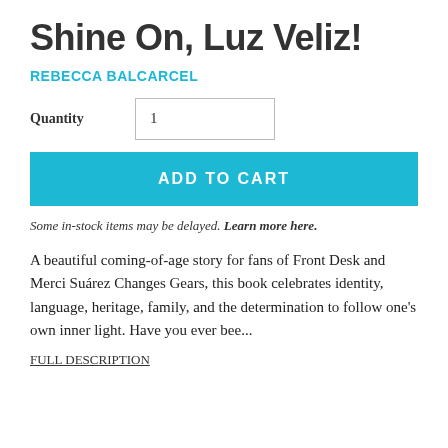Shine On, Luz Veliz!
REBECCA BALCARCEL
Quantity  1
ADD TO CART
Some in-stock items may be delayed. Learn more here.
A beautiful coming-of-age story for fans of Front Desk and Merci Suárez Changes Gears, this book celebrates identity, language, heritage, family, and the determination to follow one's own inner light.  Have you ever bee...
FULL DESCRIPTION